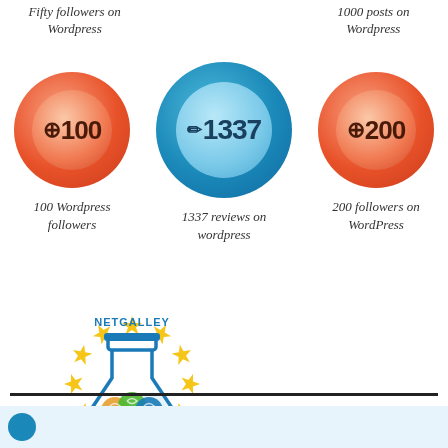Fifty followers on Wordpress
1000 posts on Wordpress
[Figure (infographic): Three circular badge icons: orange circle with +100, blue circle with pencil and 1337, orange circle with +200]
100 Wordpress followers
1337 reviews on wordpress
200 followers on WordPress
[Figure (logo): NetGalley Beta Tester badge — blue flask with colorful liquid, surrounded by gold stars, text NETGALLEY BETA TESTER]